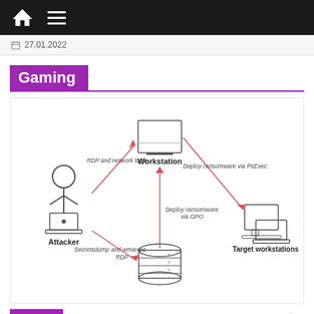Navigation bar with home and menu icons
27.01.2022
Gaming
[Figure (flowchart): Ransomware attack flow diagram showing: Attacker connects via RDP and network login to Workstation, which deploys ransomware via PsExec to Target workstations. Attacker also uses Secretsdump and wmiexec / RDP to reach a database server, which deploys ransomware via GPO back to Workstation.]
Gaming
Este juego permite a los hackers